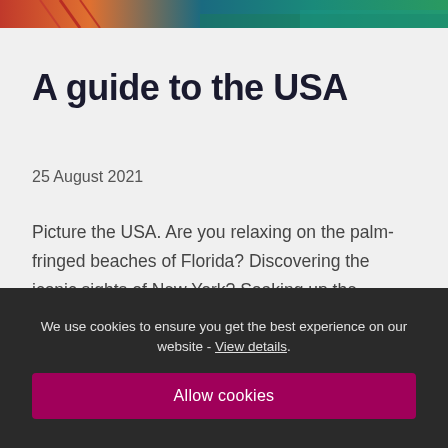[Figure (photo): Partial aerial photo strip showing a bridge structure, water, and greenery at the top of the page]
A guide to the USA
25 August 2021
Picture the USA. Are you relaxing on the palm-fringed beaches of Florida? Discovering the iconic sights of New York? Soaking up the atmosphere and charm of the Deep South? Perhaps you’re taking a spin on a roulette wheel in Las Vegas or being inspired by the stunning natural beauty of the spectacular National Parks…
→
We use cookies to ensure you get the best experience on our website - View details.
Allow cookies